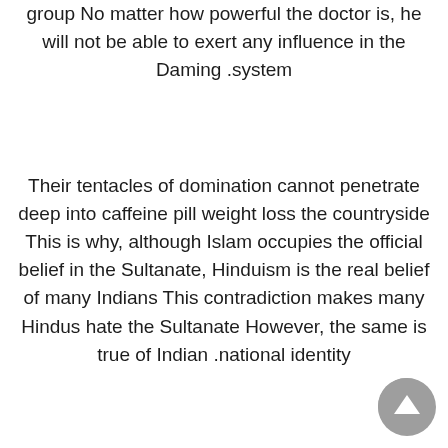group No matter how powerful the doctor is, he will not be able to exert any influence in the Daming system.
Their tentacles of domination cannot penetrate deep into caffeine pill weight loss the countryside This is why, although Islam occupies the official belief in the Sultanate, Hinduism is the real belief of many Indians This contradiction makes many Hindus hate the Sultanate However, the same is true of Indian national identity.
So the prince can really control Nanjing, and the entire middle and lower reaches of the Joan Pepper are in danger This is still, ideally.
From here, the army will be separated from the railway review on weight loss pills line activities,